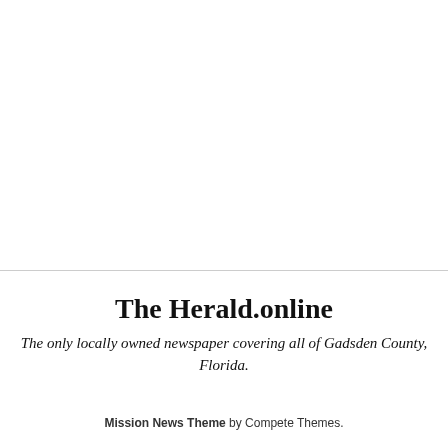The Herald.online
The only locally owned newspaper covering all of Gadsden County, Florida.
Mission News Theme by Compete Themes.